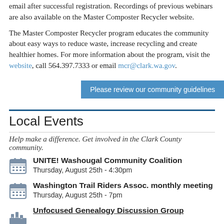email after successful registration. Recordings of previous webinars are also available on the Master Composter Recycler website.
The Master Composter Recycler program educates the community about easy ways to reduce waste, increase recycling and create healthier homes. For more information about the program, visit the website, call 564.397.7333 or email mcr@clark.wa.gov.
Please review our community guidelines
Local Events
Help make a difference. Get involved in the Clark County community.
UNITE! Washougal Community Coalition
Thursday, August 25th - 4:30pm
Washington Trail Riders Assoc. monthly meeting
Thursday, August 25th - 7pm
Unfocused Genealogy Discussion Group